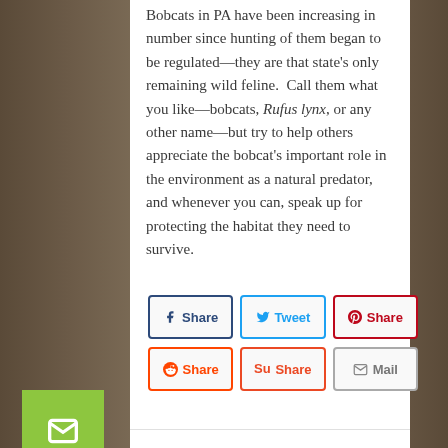Bobcats in PA have been increasing in number since hunting of them began to be regulated—they are that state's only remaining wild feline. Call them what you like—bobcats, Rufus lynx, or any other name—but try to help others appreciate the bobcat's important role in the environment as a natural predator, and whenever you can, speak up for protecting the habitat they need to survive.
[Figure (infographic): Social share buttons: Facebook Share, Twitter Tweet, Pinterest Share (top row); Reddit Share, StumbleUpon Share, Mail (bottom row). Side bar with green email, Facebook, Pinterest, and Twitter icon buttons.]